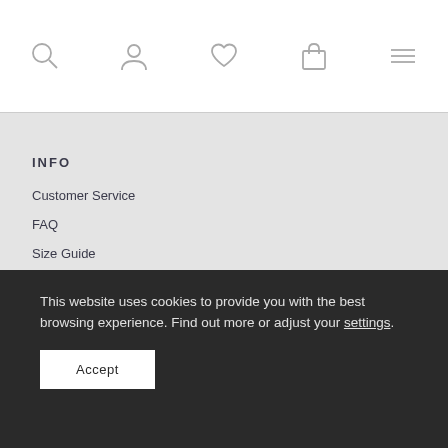Navigation icons: search, account, wishlist, bag, menu
INFO
Customer Service
FAQ
Size Guide
Material & Product Care
This website uses cookies to provide you with the best browsing experience. Find out more or adjust your settings.
Accept